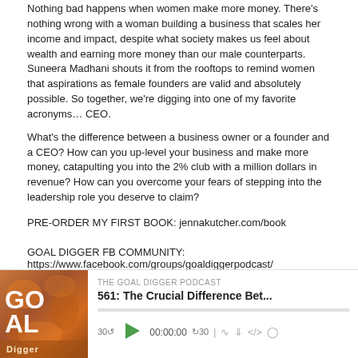Nothing bad happens when women make more money. There's nothing wrong with a woman building a business that scales her income and impact, despite what society makes us feel about wealth and earning more money than our male counterparts. Suneera Madhani shouts it from the rooftops to remind women that aspirations as female founders are valid and absolutely possible. So together, we're digging into one of my favorite acronyms… CEO.
What's the difference between a business owner or a founder and a CEO? How can you up-level your business and make more money, catapulting you into the 2% club with a million dollars in revenue? How can you overcome your fears of stepping into the leadership role you deserve to claim?
PRE-ORDER MY FIRST BOOK: jennakutcher.com/book
GOAL DIGGER FB COMMUNITY: https://www.facebook.com/groups/goaldiggerpodcast/
GOAL DIGGER INSTAGRAM: https://www.instagram.com/goaldiggerpodcast/
GOAL DIGGER SHOWNOTES: jennakutcherblog.com/ceoschool
[Figure (screenshot): Podcast player widget showing The Goal Digger Podcast episode 561: The Crucial Difference Bet... with a play button, progress bar, and playback controls. Thumbnail shows podcast cover art with GOAL Digger text.]